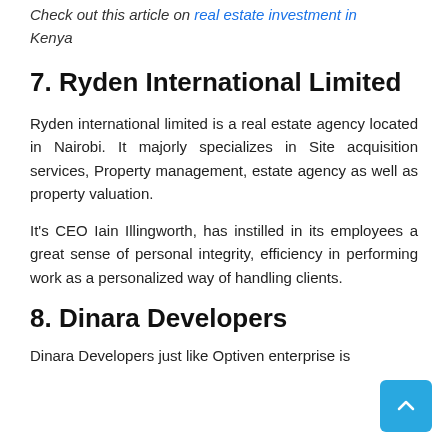Check out this article on real estate investment in Kenya
7. Ryden International Limited
Ryden international limited is a real estate agency located in Nairobi. It majorly specializes in Site acquisition services, Property management, estate agency as well as property valuation.
It's CEO Iain Illingworth, has instilled in its employees a great sense of personal integrity, efficiency in performing work as a personalized way of handling clients.
8. Dinara Developers
Dinara Developers just like Optiven enterprise is